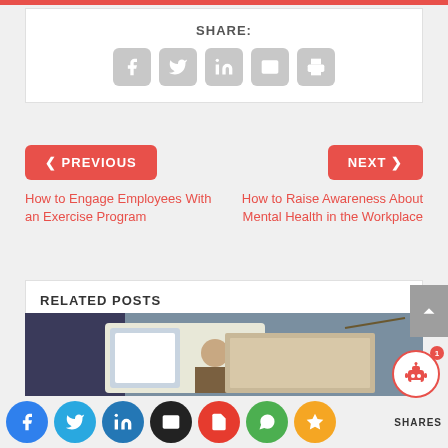SHARE:
[Figure (infographic): Social share icons: Facebook, Twitter, LinkedIn, Email, Print — grey rounded squares]
< PREVIOUS
NEXT >
How to Engage Employees With an Exercise Program
How to Raise Awareness About Mental Health in the Workplace
RELATED POSTS
[Figure (photo): Person touching a tablet device on a desk, related post thumbnail]
[Figure (infographic): Bottom social sharing bar with icons: Facebook (blue), Twitter (light blue), LinkedIn (dark blue), Email (black), PDF (red), WhatsApp (green), Star/bookmark (orange), plus SHARES label]